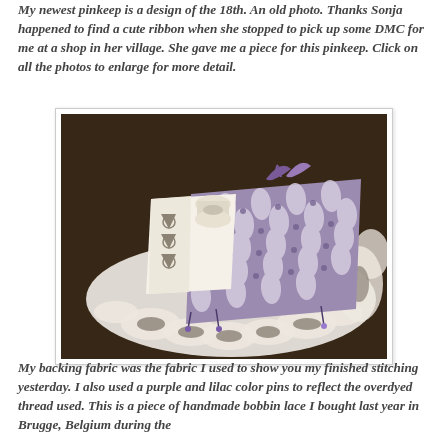My newest pinkeep is a design of the 18th. An old photo. Thanks Sonja happened to find a cute ribbon when she stopped to pick up some DMC for me at a shop in her village. She gave me a piece for this pinkeep. Click on all the photos to enlarge for more detail.
[Figure (photo): A handmade pinkeep/pincushion with purple and cream patterned fabric featuring an oval/eye pattern with small floral motifs, surrounded by white handmade bobbin lace, placed on a dark wooden surface. A small needle book with cutwork is visible alongside the pincushion, and purple ribbon is tied at the top.]
My backing fabric was the fabric I used to show you my finished stitching yesterday. I also used a purple and lilac color pins to reflect the overdyed thread used. This is a piece of handmade bobbin lace I bought last year in Brugge, Belgium during the